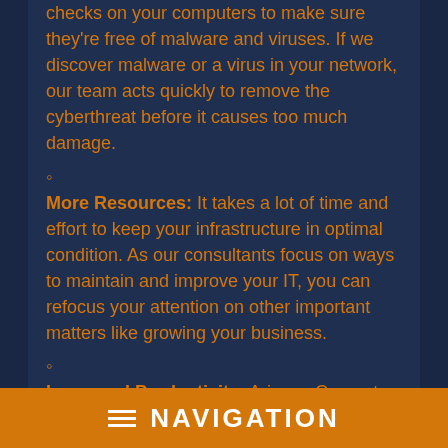checks on your computers to make sure they're free of malware and viruses. If we discover malware or a virus in your network, our team acts quickly to remove the cyberthreat before it causes too much damage.
More Resources: It takes a lot of time and effort to keep your infrastructure in optimal condition. As our consultants focus on ways to maintain and improve your IT, you can refocus your attention on other important matters like growing your business.
Increased Productivity: Arizona Computer Guru's consultants are always looking for opportunities to make your infrastructure better. Every...
≡ NAVIGATION